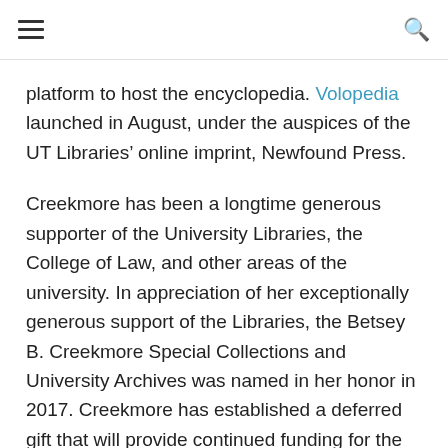≡  🔍
platform to host the encyclopedia. Volopedia launched in August, under the auspices of the UT Libraries' online imprint, Newfound Press.
Creekmore has been a longtime generous supporter of the University Libraries, the College of Law, and other areas of the university. In appreciation of her exceptionally generous support of the Libraries, the Betsey B. Creekmore Special Collections and University Archives was named in her honor in 2017. Creekmore has established a deferred gift that will provide continued funding for the archives. Her substantial endowment will support acquisition, preservation, and processing of archival collections far into the future.